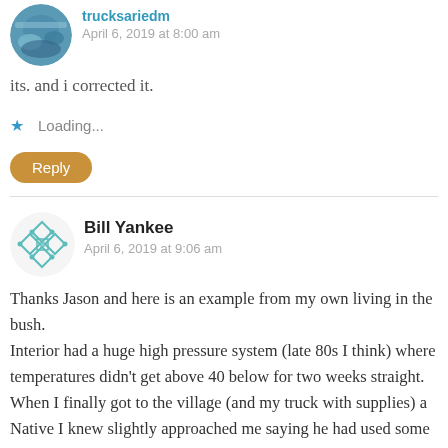[Figure (photo): Circular avatar image with a winter/snowy scene, teal/blue tones]
trucksariedm
April 6, 2019 at 8:00 am
its. and i corrected it.
Loading...
Reply
[Figure (illustration): Circular avatar with geometric teal/turquoise pattern]
Bill Yankee
April 6, 2019 at 9:06 am
Thanks Jason and here is an example from my own living in the bush.
Interior had a huge high pressure system (late 80s I think) where temperatures didn't get above 40 below for two weeks straight. When I finally got to the village (and my truck with supplies) a Native I knew slightly approached me saying he had used some of my bale of straw for his labrador-I had no problem with this use as few labs are outside at these temperatures in cities.
I was trapping at that time and was running low on dogfood and I'll say those dogs wolfed down every carcass I had until